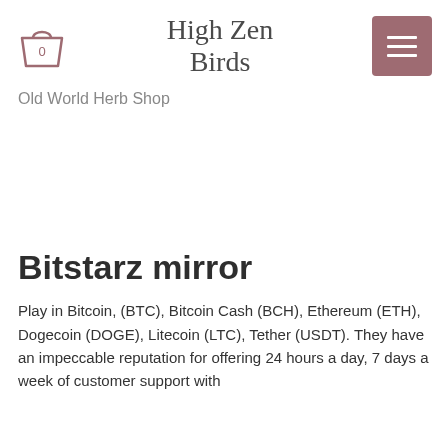[Figure (logo): Shopping bag icon with '0' label and site logo 'High Zen Birds' in script font, plus hamburger menu button in mauve/rose color]
Old World Herb Shop
Bitstarz mirror
Play in Bitcoin, (BTC), Bitcoin Cash (BCH), Ethereum (ETH), Dogecoin (DOGE), Litecoin (LTC), Tether (USDT). They have an impeccable reputation for offering 24 hours a day, 7 days a week of customer support with